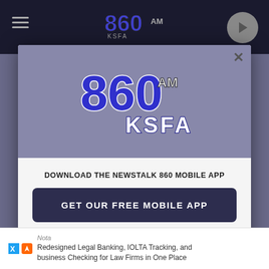[Figure (screenshot): Modal popup on 860 AM KSFA radio station website showing app download prompt]
[Figure (logo): 860 AM KSFA radio station logo in purple and white]
DOWNLOAD THE NEWSTALK 860 MOBILE APP
GET OUR FREE MOBILE APP
Also listen on: amazon alexa
Nota
Redesigned Legal Banking, IOLTA Tracking, and business Checking for Law Firms in One Place